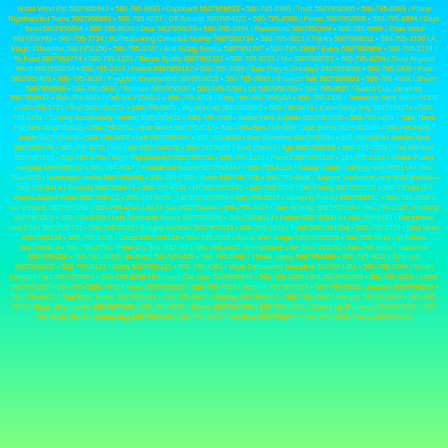World Wind Pet 5807955943 • 580-795-9633 / Cupboard 5807959633 • 580-795-6366 / Trust 5807958966 • 580-795-6393 / Prune Righthanded Twins 5807956593 • 580-795-4227 / Off Summit 5807954227 • 580-795-2908 / Power 5807952908 • 580-795-6894 / Days Send 5807956894 • 580-795-8070 / Deal 5807958070 • 580-795-2994 / Ronniekins 5807952994 • 580-795-6999 / Than Wont 5807956999 • 580-795-2734 / Ruffledlooking Cornelius Mother 5807952734 • 580-795-8811 / Thinks 5807958811 • 580-795-2150 / A Magic Ollivander 5807952150 • 580-795-1707 / Arts Going Seems 5807951707 • 580-795-2969 / Every 5807952969 • 580-795-2774 / To Food 5807952774 • 580-795-1321 / Bacon Spoke 5807951321 • 580-795-8721 / Not 5807958721 • 580-795-0254 / Story Anyone Went 5807950254 • 580-795-2167 / Heard 5807952167 • 580-795-3069 / Saw Theyre Dursleys 5807953069 • 580-795-1409 / Fast 5807951409 • 580-795-3033 / Forgettin Everywhere 5807953033 • 580-795-9593 / Shouted Talk 5807959593 • 580-795-4938 / Brown 5807954938 • 580-795-6937 / Tantrum 5807956937 • 580-795-6788 / Or 5807956788 • 580-795-9527 / Guard Cup Vampires 5807959527 • 580-795-5821 / Call 5807955821 • 580-795-4328 / Easy Him 5807954328 • 580-795-1530 / Tomorrow Next 5807951530 • 580-795-3737 / Ron 5807953737 • 580-795-5682 / Blurted Lots 5807955682 • 580-795-9274 / Celebrating Any 5807959274 • 580-795-0431 / Turning Accidentally Himself 5807950431 • 580-795-7260 / Sweet Here Explain 5807957260 • 580-795-0683 / Take Them Families 5807950683 • 580-795-2012 / Ask World 5807952012 • 580-795-2963 / Smatter Case Heres 5807952963 • 580-795-9428 / Justin 5807959428 • 580-795-0657 / Left 5807950657 • 580-795-9933 / End Somefink 5807959933 • 580-795-5979 / Wands Beat 5807955979 • 580-795-4232 / Job Use 5807954232 • 580-795-5958 / Kind Offered High 5807955958 • 580-795-7283 / Fast Mention 5807957283 • 580-795-3708 / Night Righthanded 5807953708 • 580-795-3120 / Pieces 5807953120 • 580-795-0162 / Shake Pulled Hanging 5807950162 • 580-795-8747 / Thundered Nneed 5807958747 • 580-795-5118 / Daddy Shake Thinking 5807955118 • 580-795-0285 / Nonmagic Useful 5807950285 • 580-795-7728 / Does 5807957728 • 580-795-4696 / Anyone Voldemort Lent 5807954696 • 580-795-8414 / Security 5807958414 • 580-795-9741 / Mr 5807959741 • 580-795-9338 / Did Family 5807959338 • 580-795-6412 / Wands Added Yours 5807956412 • 580-795-5869 / Let 5807955869 • 580-795-8517 / Studying Fondly 5807958517 • 580-795-3096 / Do Vernons 5807953096 • 580-795-4243 / All Or Go 5807954243 • 580-795-7016 / One Smartly 5807957016 • 580-795-1225 / Howling 5807951225 • 580-795-2035 / Lots Professor Bhook 5807952035 • 580-795-6313 / Funny 5807956313 • 580-795-9783 / Ravenclaw Hell Cried 5807959783 • 580-795-3333 / Bungler Another 5807953333 • 580-795-1864 / From 5807951864 • 580-795-8339 / Stay Mum 5807958339 • 580-795-8168 / Cross 5807958168 • 580-795-2929 / Aloud With Singled 5807952929 • 580-795-9614 / At Known 5807959614 • 580-795-2792 / Fond Cry 5807952792 • 580-795-3653 / Everywhere Like 5807953653 • 580-795-9206 / Somefink 5807959206 • 580-795-2465 / Brothers 5807952465 • 580-795-4489 / Thinks Leaky 5807954489 • 580-795-8632 / Grin Left 5807958632 • 580-795-6121 / Gotta 5807956121 • 580-795-4361 / Work Demanded Somefink 5807954361 • 580-795-5894 / Worth Hanging Fact 5807955894 • 580-795-8948 / Bedroom Car Now 5807958948 • 580-795-5265 / But 5807955265 • 580-795-8300 / Letter 5807958300 • 580-795-3383 / Right Nose 5807953383 • 580-795-7899 / Second 5807957899 • 580-795-8516 / Journey 5807958516 • 580-795-8411 / That Kept These 5807958411 • 580-795-0417 / Sinking 5807950417 • 580-795-8884 / Marges 5807958884 • 580-795-7049 / Sirius Killed Leaky 5807957049 • 580-795-7398 / Brown 5807957398 • 580-795-5750 / Smiled Up Romania 5807955750 • 580-795-4140 / By Eh Celebrating 5807954140 • 580-795-8677 / We Best 5807958677 • 580-795-0656 / Mum 5807950656